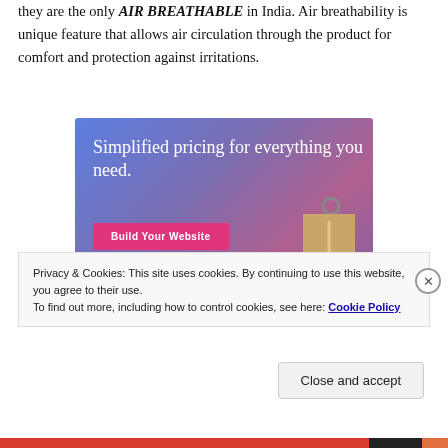they are the only AIR BREATHABLE in India. Air breathability is unique feature that allows air circulation through the product for comfort and protection against irritations.
[Figure (infographic): Advertisement banner with purple-blue gradient background showing text 'Simplified pricing for everything you need.' with a pink 'Build Your Website' button and a 3D price tag illustration on the right.]
Privacy & Cookies: This site uses cookies. By continuing to use this website, you agree to their use.
To find out more, including how to control cookies, see here: Cookie Policy
Close and accept